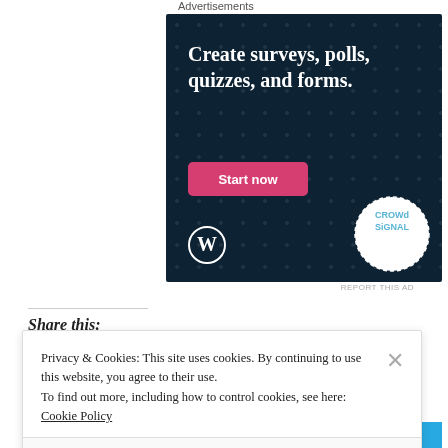Advertisements
[Figure (illustration): Advertisement banner for Crowdsignal/WordPress: dark navy background with white dot pattern. Large white bold text reads 'Create surveys, polls, quizzes, and forms.' A pink 'Start now' button appears below. WordPress logo (white W in circle) at bottom-left. Crowdsignal logo (white dashed circle with teal/grey text) at bottom-right.]
REPORT THIS AD
Share this:
Privacy & Cookies: This site uses cookies. By continuing to use this website, you agree to their use. To find out more, including how to control cookies, see here: Cookie Policy
Close and accept